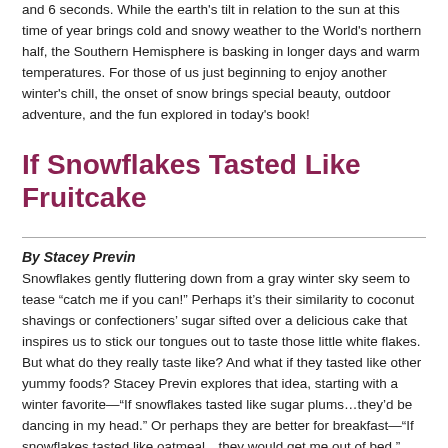and 6 seconds. While the earth's tilt in relation to the sun at this time of year brings cold and snowy weather to the World's northern half, the Southern Hemisphere is basking in longer days and warm temperatures. For those of us just beginning to enjoy another winter's chill, the onset of snow brings special beauty, outdoor adventure, and the fun explored in today's book!
If Snowflakes Tasted Like Fruitcake
By Stacey Previn
Snowflakes gently fluttering down from a gray winter sky seem to tease “catch me if you can!” Perhaps it’s their similarity to coconut shavings or confectioners’ sugar sifted over a delicious cake that inspires us to stick our tongues out to taste those little white flakes. But what do they really taste like? And what if they tasted like other yummy foods? Stacey Previn explores that idea, starting with a winter favorite—“If snowflakes tasted like sugar plums…they’d be dancing in my head.” Or perhaps they are better for breakfast—“If snowflakes tasted like oatmeal…they would get me out of bed.”